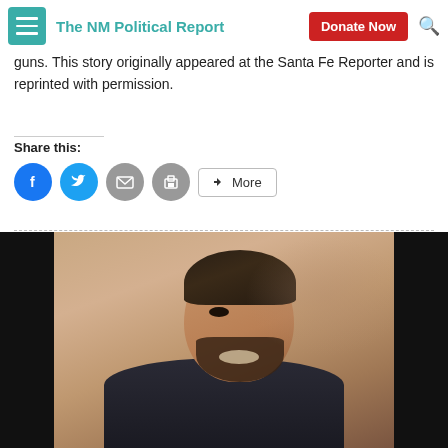The NM Political Report | Donate Now
guns. This story originally appeared at the Santa Fe Reporter and is reprinted with permission.
Share this:
[Figure (photo): Portrait photo of a smiling man with dark hair and beard, wearing a dark suit, photographed outdoors with a blurred building in the background.]